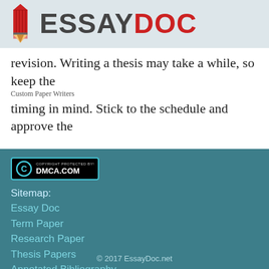[Figure (logo): EssayDoc logo with red pencil icon and text ESSAY in dark gray and DOC in red]
revision. Writing a thesis may take a while, so keep the timing in mind. Stick to the schedule and approve the parts of your paper gradually.
Custom Paper Writers
Last updated November 26th, 2018
[Figure (logo): DMCA.com copyright protection badge]
Sitemap:
Essay Doc
Term Paper
Research Paper
Thesis Papers
Annotated Bibliography
© 2017 EssayDoc.net